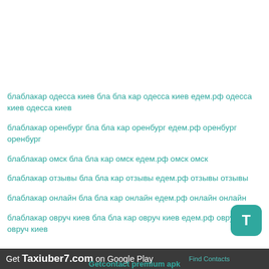блаблакар одесса киев бла бла кар одесса киев едем.рф одесса киев одесса киев
блаблакар оренбург бла бла кар оренбург едем.рф оренбург оренбург
блаблакар омск бла бла кар омск едем.рф омск омск
блаблакар отзывы бла бла кар отзывы едем.рф отзывы отзывы
блаблакар онлайн бла бла кар онлайн едем.рф онлайн онлайн
блаблакар овруч киев бла бла кар овруч киев едем.рф овруч киев овруч киев
Get Taxiuber7.com on Google Play
Find Contacts
Getcontact premium apk